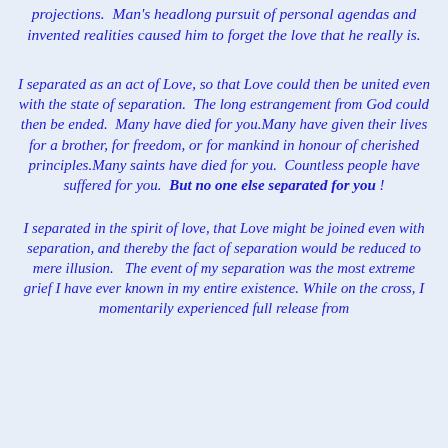projections. Man's headlong pursuit of personal agendas and invented realities caused him to forget the love that he really is.
I separated as an act of Love, so that Love could then be united even with the state of separation. The long estrangement from God could then be ended. Many have died for you.Many have given their lives for a brother, for freedom, or for mankind in honour of cherished principles.Many saints have died for you. Countless people have suffered for you. But no one else separated for you !
I separated in the spirit of love, that Love might be joined even with separation, and thereby the fact of separation would be reduced to mere illusion. The event of my separation was the most extreme grief I have ever known in my entire existence. While on the cross, I momentarily experienced full release from